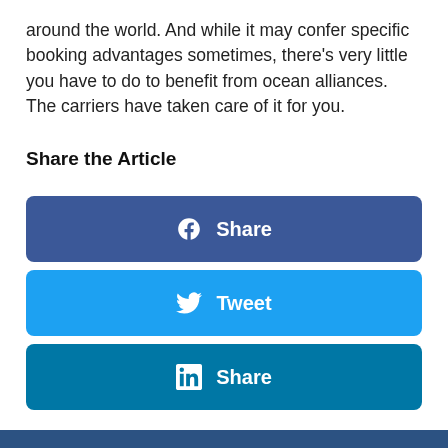around the world. And while it may confer specific booking advantages sometimes, there's very little you have to do to benefit from ocean alliances. The carriers have taken care of it for you.
Share the Article
[Figure (infographic): Facebook Share button (dark blue), Twitter Tweet button (light blue), LinkedIn Share button (teal blue) — social media sharing buttons]